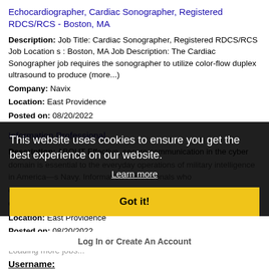Echocardiographer, Cardiac Sonographer, Registered RDCS/RCS - Boston, MA
Description: Job Title: Cardiac Sonographer, Registered RDCS/RCS Job Location s : Boston, MA Job Description: The Cardiac Sonographer job requires the sonographer to utilize color-flow duplex ultrasound to produce (more...)
Company: Navix
Location: East Providence
Posted on: 08/20/2022
Information Professional
Description: ABOUT Effective, secure communication in the cyber domain is essential to the everyday operations of military intelligence in America—s Navy. Information Professionals who ove... Company: Location: East Providence Posted on: 08/20/2022
Loading more jobs...
This website uses cookies to ensure you get the best experience on our website.
Learn more
Got it!
Log In or Create An Account
Username: